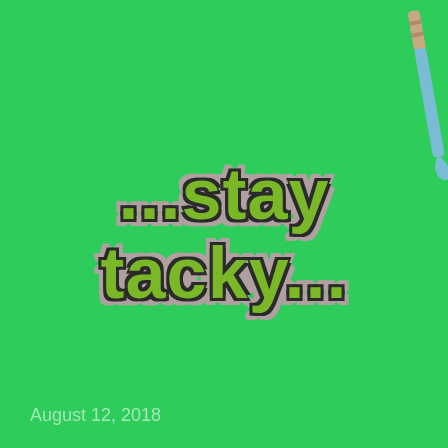[Figure (illustration): Green background with a hockey stick illustration in the top-right corner]
...stay tacky...
August 12, 2018